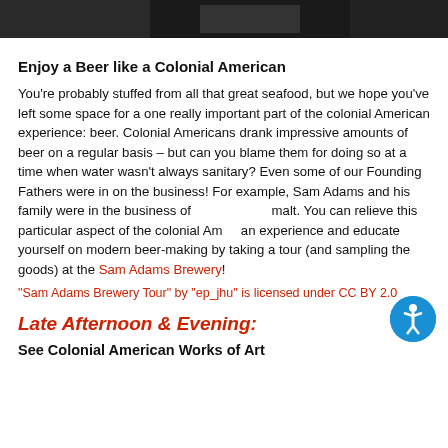[Figure (photo): Top banner image, dark background, appears to be a brewery or bar scene]
Enjoy a Beer like a Colonial American
You're probably stuffed from all that great seafood, but we hope you've left some space for a one really important part of the colonial American experience: beer. Colonial Americans drank impressive amounts of beer on a regular basis – but can you blame them for doing so at a time when water wasn't always sanitary? Even some of our Founding Fathers were in on the business! For example, Sam Adams and his family were in the business of malt. You can relieve this particular aspect of the colonial American experience and educate yourself on modern beer-making by taking a tour (and sampling the goods) at the Sam Adams Brewery!
"Sam Adams Brewery Tour" by "ep_jhu" is licensed under CC BY 2.0
Late Afternoon & Evening:
See Colonial American Works of Art